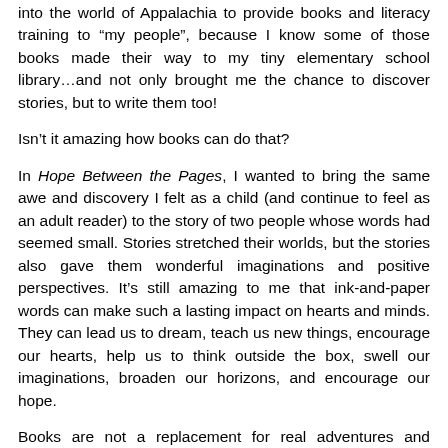I'm grateful for the stories of book-loving pioneers traveling into the world of Appalachia to provide books and literacy training to “my people”, because I know some of those books made their way to my tiny elementary school library…and not only brought me the chance to discover stories, but to write them too!
Isn’t it amazing how books can do that?
In Hope Between the Pages, I wanted to bring the same awe and discovery I felt as a child (and continue to feel as an adult reader) to the story of two people whose words had seemed small. Stories stretched their worlds, but the stories also gave them wonderful imaginations and positive perspectives. It’s still amazing to me that ink-and-paper words can make such a lasting impact on hearts and minds. They can lead us to dream, teach us new things, encourage our hearts, help us to think outside the box, swell our imaginations, broaden our horizons, and encourage our hope.
Books are not a replacement for real adventures and relationships, but they certainly provide a beautiful “door” into